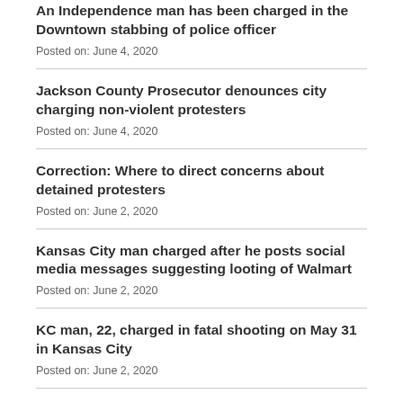An Independence man has been charged in the Downtown stabbing of police officer
Posted on: June 4, 2020
Jackson County Prosecutor denounces city charging non-violent protesters
Posted on: June 4, 2020
Correction: Where to direct concerns about detained protesters
Posted on: June 2, 2020
Kansas City man charged after he posts social media messages suggesting looting of Walmart
Posted on: June 2, 2020
KC man, 22, charged in fatal shooting on May 31 in Kansas City
Posted on: June 2, 2020
Former KC police officer pleads guilty in fatal